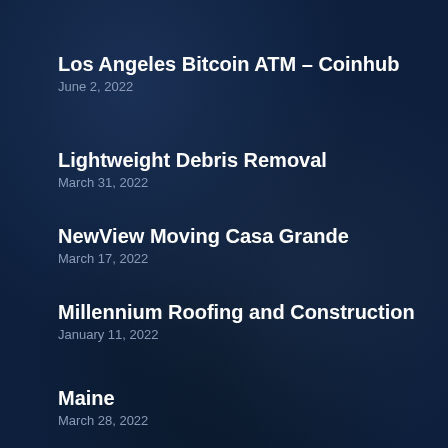Los Angeles Bitcoin ATM – Coinhub
June 2, 2022
Lightweight Debris Removal
March 31, 2022
NewView Moving Casa Grande
March 17, 2022
Millennium Roofing and Construction
January 11, 2022
Maine
March 28, 2022